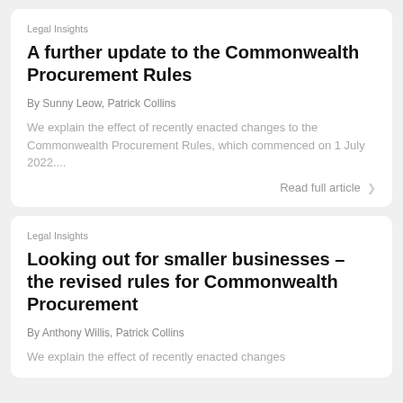Legal Insights
A further update to the Commonwealth Procurement Rules
By Sunny Leow, Patrick Collins
We explain the effect of recently enacted changes to the Commonwealth Procurement Rules, which commenced on 1 July 2022....
Read full article >
Legal Insights
Looking out for smaller businesses – the revised rules for Commonwealth Procurement
By Anthony Willis, Patrick Collins
We explain the effect of recently enacted changes